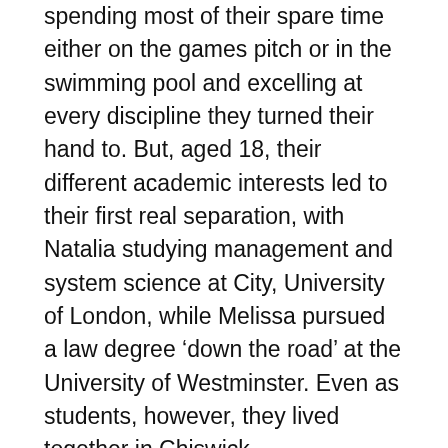spending most of their spare time either on the games pitch or in the swimming pool and excelling at every discipline they turned their hand to. But, aged 18, their different academic interests led to their first real separation, with Natalia studying management and system science at City, University of London, while Melissa pursued a law degree ‘down the road’ at the University of Westminster. Even as students, however, they lived together in Chiswick.
Melissa was the first to opt for a career in the public service. ‘I am very dogged and liked the idea of solving the crime not just punishing the offender,’ she says. Natalia found herself caring for her elderly grandparents after leaving university and felt what she describes as ‘a calling’ to people who were ailing. She says, ‘I remember thinking that I didn’t want to just help save lives but to be the person supporting